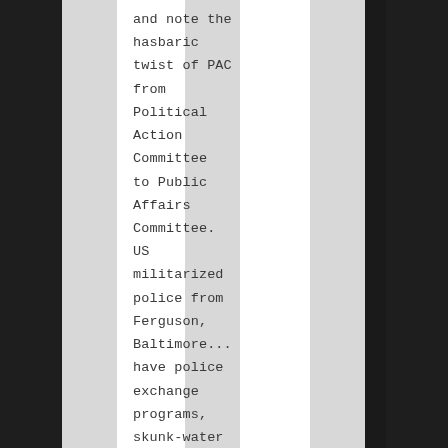and note the hasbaric twist of PAC from Political Action Committee to Public Affairs Committee. US militarized police from Ferguson, Baltimore... have police exchange programs, skunk-water spraying into the